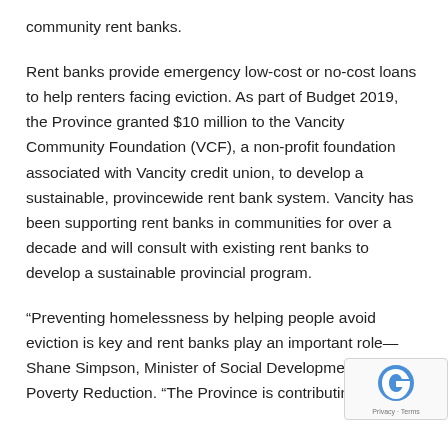community rent banks.
Rent banks provide emergency low-cost or no-cost loans to help renters facing eviction. As part of Budget 2019, the Province granted $10 million to the Vancity Community Foundation (VCF), a non-profit foundation associated with Vancity credit union, to develop a sustainable, provincewide rent bank system. Vancity has been supporting rent banks in communities for over a decade and will consult with existing rent banks to develop a sustainable provincial program.
“Preventing homelessness by helping people avoid eviction is key and rent banks play an important role— Shane Simpson, Minister of Social Development and Poverty Reduction. “The Province is contributing this